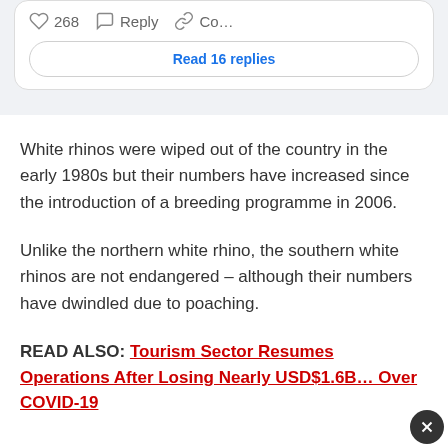[Figure (screenshot): Social media comment interaction bar with heart icon showing 268 likes, reply icon, and copy link icon with truncated 'Co...' label, followed by a 'Read 16 replies' button]
White rhinos were wiped out of the country in the early 1980s but their numbers have increased since the introduction of a breeding programme in 2006.
Unlike the northern white rhino, the southern white rhinos are not endangered – although their numbers have dwindled due to poaching.
READ ALSO: Tourism Sector Resumes Operations After Losing Nearly USD$1.6B… Over COVID-19